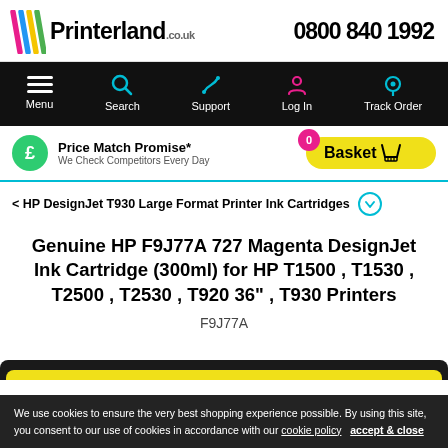Printerland.co.uk   0800 840 1992
[Figure (screenshot): Navigation bar with Menu, Search, Support, Log In, Track Order icons on black background]
[Figure (screenshot): Price Match Promise bar with green pound icon and yellow basket button showing 0 items]
< HP DesignJet T930 Large Format Printer Ink Cartridges
Genuine HP F9J77A 727 Magenta DesignJet Ink Cartridge (300ml) for HP T1500 , T1530 , T2500 , T2530 , T920 36" , T930 Printers
F9J77A
We use cookies to ensure the very best shopping experience possible. By using this site, you consent to our use of cookies in accordance with our cookie policy   accept & close